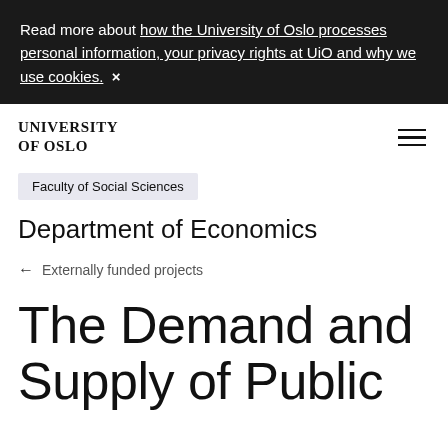Read more about how the University of Oslo processes personal information, your privacy rights at UiO and why we use cookies.  ×
UNIVERSITY OF OSLO
Faculty of Social Sciences
Department of Economics
← Externally funded projects
The Demand and Supply of Public